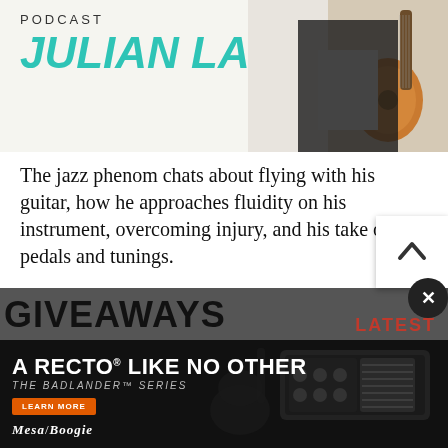[Figure (photo): Website article page header banner showing 'PODCAST' label and 'JULIAN LAGE' in large teal italic bold text, with a partial image of a guitarist on the right side holding an acoustic guitar.]
The jazz phenom chats about flying with his guitar, how he approaches fluidity on his instrument, overcoming injury, and his take on pedals and tunings.
[Figure (screenshot): Embedded video player showing a man playing an electric guitar in front of amplifiers in a dark room. A white circular play button is overlaid in the center.]
[Figure (infographic): Social sharing icons: Facebook, Twitter, and Email icons displayed in a row.]
[Figure (photo): Advertisement for Mesa/Boogie 'A RECTO LIKE NO OTHER - THE BADLANDER SERIES' with a photo of a guitar amplifier head and a Learn More button.]
GIVEAWAYS
LATEST